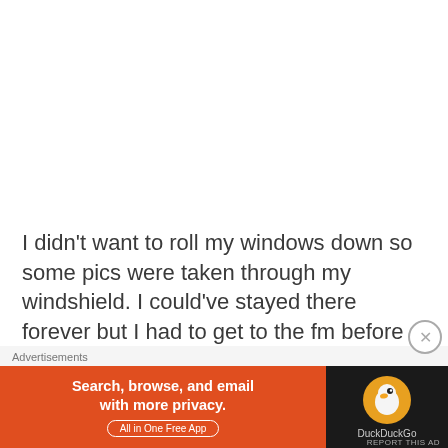I didn't want to roll my windows down so some pics were taken through my windshield. I could've stayed there forever but I had to get to the fm before 2pm so off we went. I found the market easily but dude, how is a farmers market that is held in a beautiful park *Plummer's Park* end up so lame?
[Figure (screenshot): DuckDuckGo advertisement banner with orange left panel showing 'Search, browse, and email with more privacy. All in One Free App' and dark right panel with DuckDuckGo duck logo]